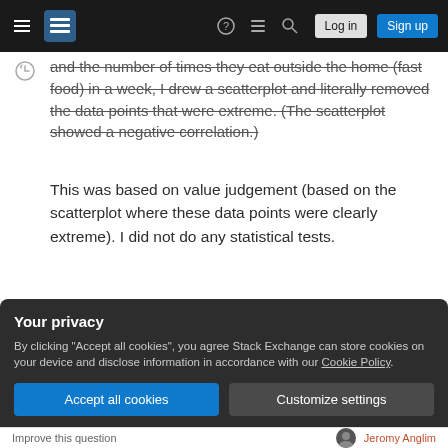Stack Exchange navigation bar with hamburger menu, logo, help, chat, search icons, Log in and Sign up buttons
and the number of times they eat outside the home (fast food) in a week, I drew a scatterplot and literally removed the data points that were extreme. (The scatterplot showed a negative correlation.)
This was based on value judgement (based on the scatterplot where these data points were clearly extreme). I did not do any statistical tests.
I am just wondering if this is a sound way of dealing with outliers.
Your privacy
By clicking "Accept all cookies", you agree Stack Exchange can store cookies on your device and disclose information in accordance with our Cookie Policy.
Accept all cookies  Customize settings
Improve this question   Jeromy Anglim